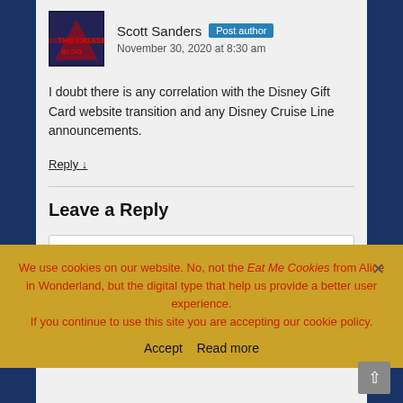Scott Sanders  Post author
November 30, 2020 at 8:30 am
I doubt there is any correlation with the Disney Gift Card website transition and any Disney Cruise Line announcements.
Reply ↓
Leave a Reply
Enter your comment here...
This site uses Akismet to reduce spam. Learn how your comment data is processed.
We use cookies on our website. No, not the Eat Me Cookies from Alice in Wonderland, but the digital type that help us provide a better user experience.
If you continue to use this site you are accepting our cookie policy.
Accept  Read more